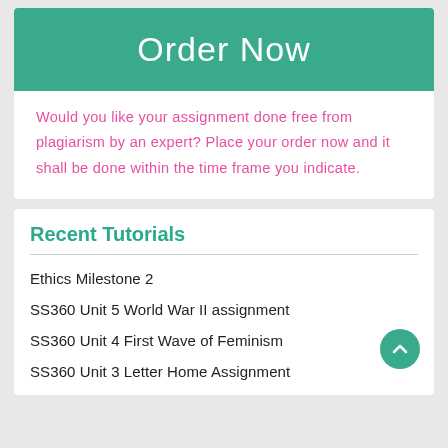Order Now
Would you like your assignment done free from plagiarism by an expert? Place your order now and it shall be done within the time frame you indicate.
Recent Tutorials
Ethics Milestone 2
SS360 Unit 5 World War II assignment
SS360 Unit 4 First Wave of Feminism
SS360 Unit 3 Letter Home Assignment